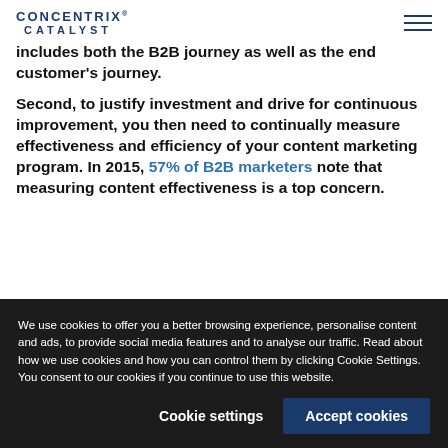CONCENTRIX CATALYST
includes both the B2B journey as well as the end customer's journey.
Second, to justify investment and drive for continuous improvement, you then need to continually measure effectiveness and efficiency of your content marketing program. In 2015, 57% of B2B marketers note that measuring content effectiveness is a top concern.
We use cookies to offer you a better browsing experience, personalise content and ads, to provide social media features and to analyse our traffic. Read about how we use cookies and how you can control them by clicking Cookie Settings. You consent to our cookies if you continue to use this website.